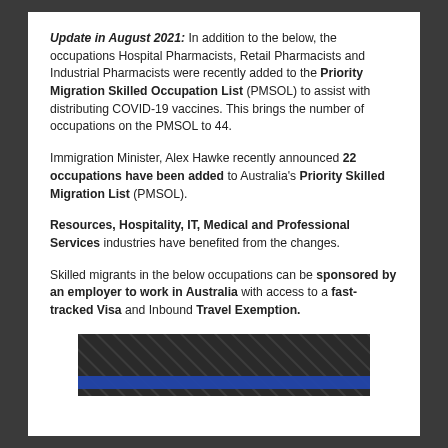Update in August 2021: In addition to the below, the occupations Hospital Pharmacists, Retail Pharmacists and Industrial Pharmacists were recently added to the Priority Migration Skilled Occupation List (PMSOL) to assist with distributing COVID-19 vaccines. This brings the number of occupations on the PMSOL to 44.
Immigration Minister, Alex Hawke recently announced 22 occupations have been added to Australia's Priority Skilled Migration List (PMSOL).
Resources, Hospitality, IT, Medical and Professional Services industries have benefited from the changes.
Skilled migrants in the below occupations can be sponsored by an employer to work in Australia with access to a fast-tracked Visa and Inbound Travel Exemption.
[Figure (illustration): Dark banner image with a blue horizontal stripe near the bottom, resembling a decorative header/footer graphic with diagonal line patterns.]